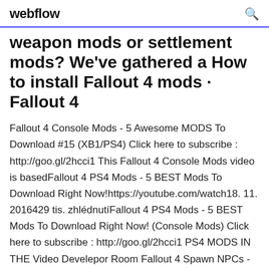webflow
weapon mods or settlement mods? We've gathered a How to install Fallout 4 mods · Fallout 4
Fallout 4 Console Mods - 5 Awesome MODS To Download #15 (XB1/PS4) Click here to subscribe : http://goo.gl/2hcci1 This Fallout 4 Console Mods video is basedFallout 4 PS4 Mods - 5 BEST Mods To Download Right Now!https://youtube.com/watch18. 11. 2016429 tis. zhlédnutíFallout 4 PS4 Mods - 5 BEST Mods To Download Right Now! (Console Mods) Click here to subscribe : http://goo.gl/2hcci1 PS4 MODS IN THE Video Develepor Room Fallout 4 Spawn NPCs - YouTube3:27youtube.com21. 6.